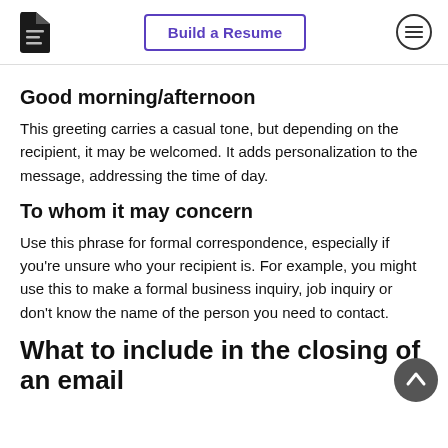Build a Resume
Good morning/afternoon
This greeting carries a casual tone, but depending on the recipient, it may be welcomed. It adds personalization to the message, addressing the time of day.
To whom it may concern
Use this phrase for formal correspondence, especially if you're unsure who your recipient is. For example, you might use this to make a formal business inquiry, job inquiry or don't know the name of the person you need to contact.
What to include in the closing of an email